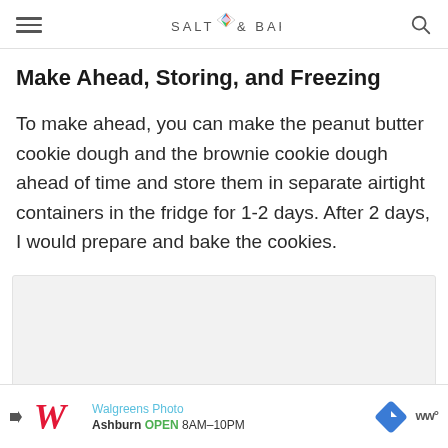SALT & BAKER
Make Ahead, Storing, and Freezing
To make ahead, you can make the peanut butter cookie dough and the brownie cookie dough ahead of time and store them in separate airtight containers in the fridge for 1-2 days. After 2 days, I would prepare and bake the cookies.
[Figure (other): Gray placeholder box for an image]
[Figure (other): Walgreens Photo advertisement banner showing Ashburn location OPEN 8AM-10PM]